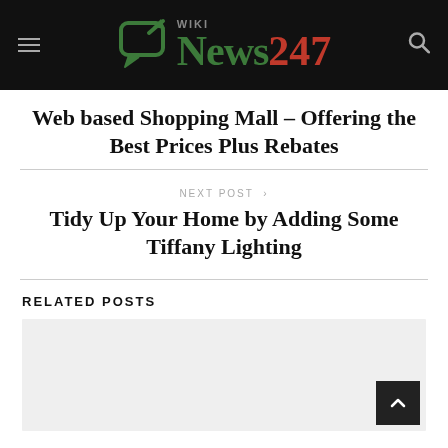Wiki News 247
Web based Shopping Mall – Offering the Best Prices Plus Rebates
NEXT POST >
Tidy Up Your Home by Adding Some Tiffany Lighting
RELATED POSTS
[Figure (photo): Placeholder image for related post thumbnail]